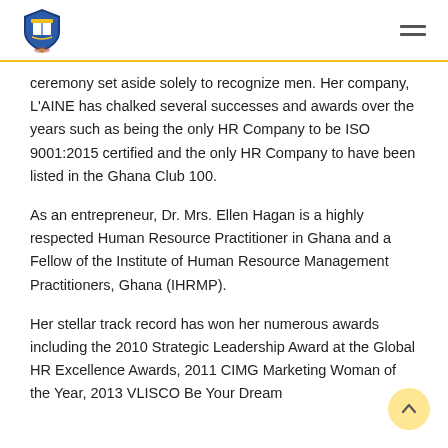Logo and navigation header
ceremony set aside solely to recognize men. Her company, L'AINE has chalked several successes and awards over the years such as being the only HR Company to be ISO 9001:2015 certified and the only HR Company to have been listed in the Ghana Club 100.
As an entrepreneur, Dr. Mrs. Ellen Hagan is a highly respected Human Resource Practitioner in Ghana and a Fellow of the Institute of Human Resource Management Practitioners, Ghana (IHRMP).
Her stellar track record has won her numerous awards including the 2010 Strategic Leadership Award at the Global HR Excellence Awards, 2011 CIMG Marketing Woman of the Year, 2013 VLISCO Be Your Dream...